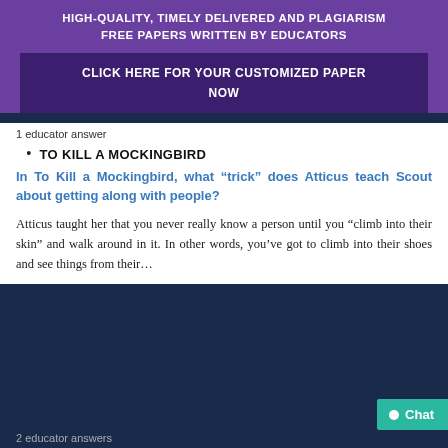HIGH-QUALITY, TIMELY DELIVERED AND PLAGIARISM FREE PAPERS WRITTEN BY EDUCATORS
CLICK HERE FOR YOUR CUSTOMIZED PAPER NOW
1 educator answer
TO KILL A MOCKINGBIRD
In To Kill a Mockingbird, what “trick” does Atticus teach Scout about getting along with people?
Atticus taught her that you never really know a person until you “climb into their skin” and walk around in it. In other words, you’ve got to climb into their shoes and see things from their…
2 educator answers